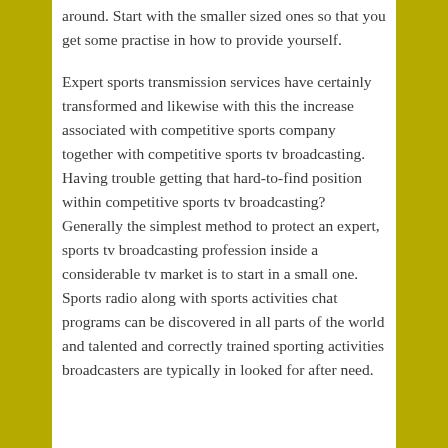around. Start with the smaller sized ones so that you get some practise in how to provide yourself.
Expert sports transmission services have certainly transformed and likewise with this the increase associated with competitive sports company together with competitive sports tv broadcasting. Having trouble getting that hard-to-find position within competitive sports tv broadcasting? Generally the simplest method to protect an expert, sports tv broadcasting profession inside a considerable tv market is to start in a small one. Sports radio along with sports activities chat programs can be discovered in all parts of the world and talented and correctly trained sporting activities broadcasters are typically in looked for after need.